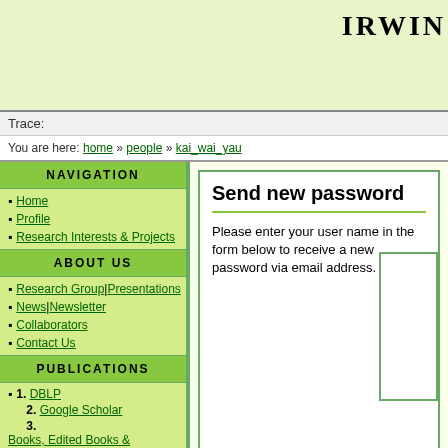IRWIN
Trace:
You are here: home » people » kai_wai_yau
NAVIGATION
Home
Profile
Research Interests & Projects
ABOUT US
Research Group | Presentations
News | Newsletter
Collaborators
Contact Us
PUBLICATIONS
1. DBLP
2. Google Scholar
3. Books, Edited Books & Proceedings
4. Book Chapters
5. Theses
6. Patents
7. Presentations
8. Datasets
Send new password
Please enter your user name in the form below to receive a new password via email address.